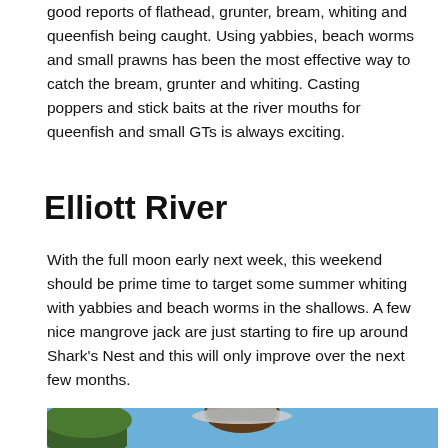good reports of flathead, grunter, bream, whiting and queenfish being caught. Using yabbies, beach worms and small prawns has been the most effective way to catch the bream, grunter and whiting. Casting poppers and stick baits at the river mouths for queenfish and small GTs is always exciting.
Elliott River
With the full moon early next week, this weekend should be prime time to target some summer whiting with yabbies and beach worms in the shallows. A few nice mangrove jack are just starting to fire up around Shark's Nest and this will only improve over the next few months.
[Figure (photo): A person wearing a hat outdoors with trees and blue sky in background]